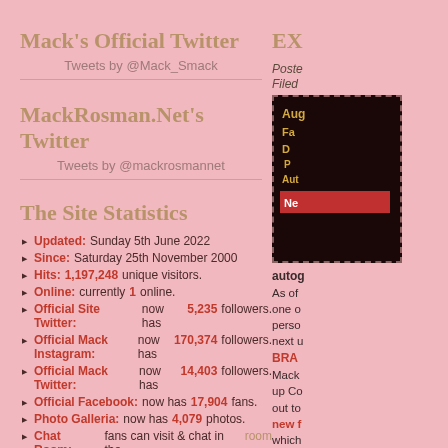Mack's Official Twitter
Tweets by @Mack_Smack
MackRosman.Net's Twitter
Tweets by @mackrosmannet
The Site Statistics
Updated: Sunday 5th June 2022
Since: Saturday 25th November 2000
Hits: 1,197,248 unique visitors.
Online: currently 1 online.
Official Site Twitter: now has 5,235 followers.
Official Mack Instagram: now has 170,374 followers.
Official Mack Twitter: now has 14,403 followers.
Official Facebook: now has 17,904 fans.
Photo Galleria: now has 4,079 photos.
Chat Room: fans can visit & chat in the room
EX
Posted
Filed
[Figure (photo): Book or event flyer with text: Aug, Fa D, P, Aut, New in gold and red colors on dark background]
autog
As of one o perso next u
BRAD
Mack up Co out to new f which which PERSO